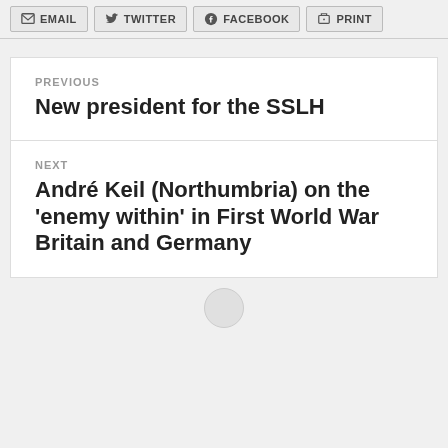EMAIL  TWITTER  FACEBOOK  PRINT
PREVIOUS
New president for the SSLH
NEXT
André Keil (Northumbria) on the 'enemy within' in First World War Britain and Germany